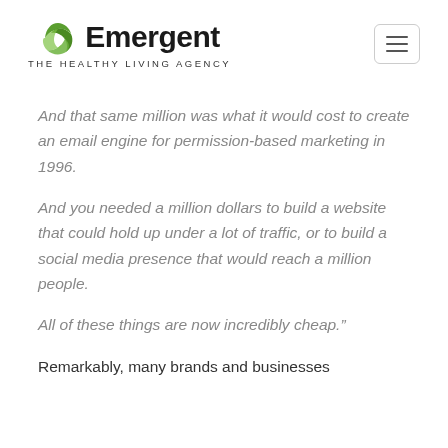Emergent THE HEALTHY LIVING AGENCY
And that same million was what it would cost to create an email engine for permission-based marketing in 1996.
And you needed a million dollars to build a website that could hold up under a lot of traffic, or to build a social media presence that would reach a million people.
All of these things are now incredibly cheap.”
Remarkably, many brands and businesses